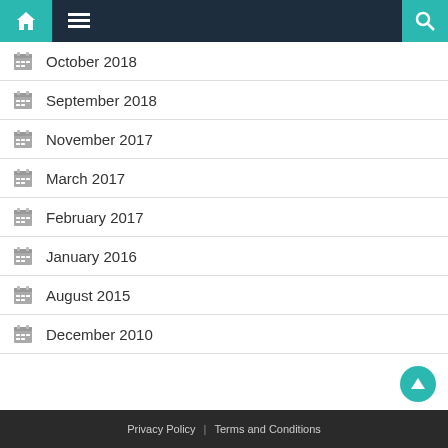Navigation bar with home, menu, and search icons
October 2018
September 2018
November 2017
March 2017
February 2017
January 2016
August 2015
December 2010
Privacy Policy | Terms and Conditions